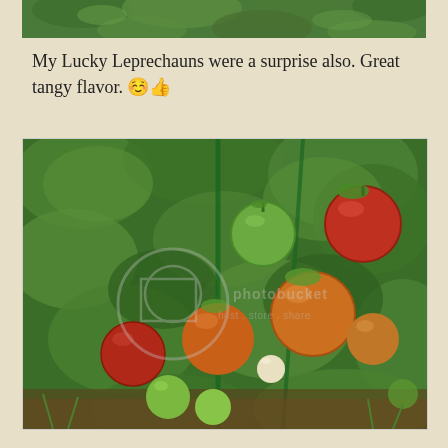[Figure (photo): Top portion of a garden tomato plant photo, cropped at top of page showing green foliage]
My Lucky Leprechauns were a surprise also. Great tangy flavor. 😊👍
[Figure (photo): Garden photo showing tomato plants with various tomatoes in different stages of ripeness — green, orange, and red tomatoes among lush green foliage. Photobucket watermark visible.]